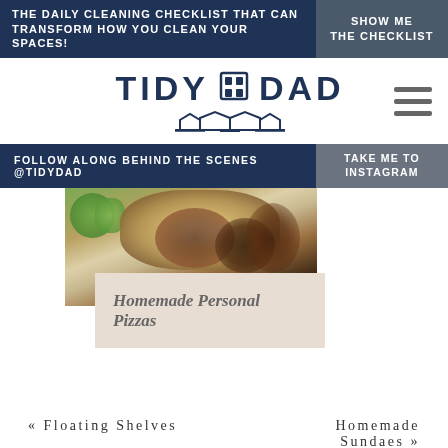THE DAILY CLEANING CHECKLIST THAT CAN TRANSFORM HOW YOU CLEAN YOUR SPACES!
SHOW ME THE CHECKLIST
[Figure (logo): Tidy Dad logo with building icon and bridge graphic]
FOLLOW ALONG BEHIND THE SCENES @TIDYDAD
TAKE ME TO INSTAGRAM
[Figure (photo): Overhead photo of homemade personal pizzas with various toppings on a wooden surface]
Homemade Personal Pizzas
« Floating Shelves
Homemade Sundaes »